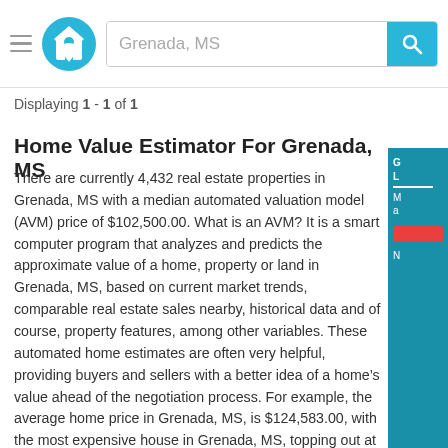Grenada, MS
Displaying 1 - 1 of 1
Home Value Estimator For Grenada, MS
There are currently 4,432 real estate properties in Grenada, MS with a median automated valuation model (AVM) price of $102,500.00. What is an AVM? It is a smart computer program that analyzes and predicts the approximate value of a home, property or land in Grenada, MS, based on current market trends, comparable real estate sales nearby, historical data and of course, property features, among other variables. These automated home estimates are often very helpful, providing buyers and sellers with a better idea of a home’s value ahead of the negotiation process. For example, the average home price in Grenada, MS, is $124,583.00, with the most expensive house in Grenada, MS, topping out at $1,233,000.00 and the cheapest home in Grenada, MS, clocking in at $11,900.00. In other words, there’s something for every potential homebuyer or savy